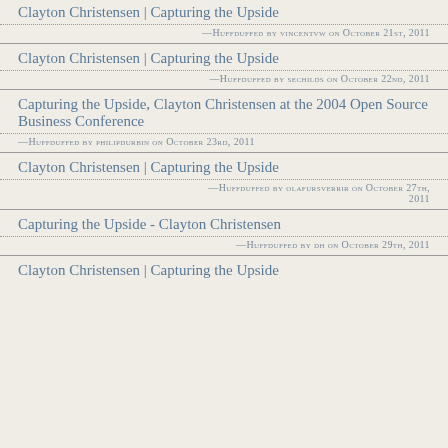Clayton Christensen | Capturing the Upside
—Huffduffed by vincentvw on October 21st, 2011
Clayton Christensen | Capturing the Upside
—Huffduffed by sechilds on October 22nd, 2011
Capturing the Upside, Clayton Christensen at the 2004 Open Source Business Conference
—Huffduffed by philipdurbin on October 23rd, 2011
Clayton Christensen | Capturing the Upside
—Huffduffed by olafursverrir on October 27th, 2011
Capturing the Upside - Clayton Christensen
—Huffduffed by dh on October 29th, 2011
Clayton Christensen | Capturing the Upside